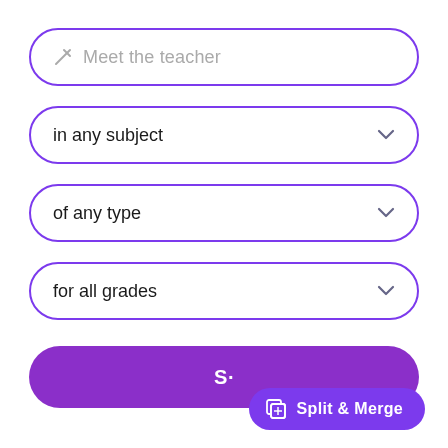Meet the teacher
in any subject
of any type
for all grades
S…
Split & Merge